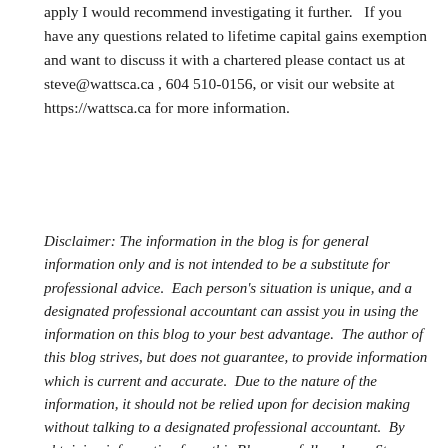apply I would recommend investigating it further.   If you have any questions related to lifetime capital gains exemption and want to discuss it with a chartered please contact us at steve@wattsca.ca , 604 510-0156, or visit our website at https://wattsca.ca for more information.
Disclaimer: The information in the blog is for general information only and is not intended to be a substitute for professional advice.  Each person's situation is unique, and a designated professional accountant can assist you in using the information on this blog to your best advantage.  The author of this blog strives, but does not guarantee, to provide information which is current and accurate.  Due to the nature of the information, it should not be relied upon for decision making without talking to a designated professional accountant.  By obtaining information from this Blog, you fully release Steve Watts, Chartered Accountant of any liability